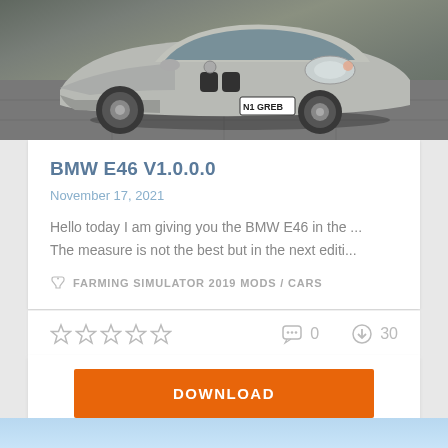[Figure (photo): Silver BMW E46 car photographed from front-right angle on a grey tiled floor surface]
BMW E46 V1.0.0.0
November 17, 2021
Hello today I am giving you the BMW E46 in the ... The measure is not the best but in the next editi...
FARMING SIMULATOR 2019 MODS / CARS
★★★★★  0  30
DOWNLOAD